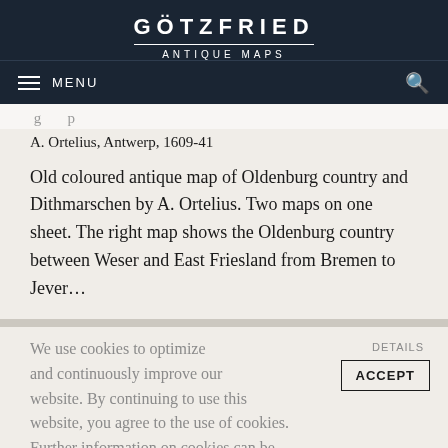GÖTZFRIED
ANTIQUE MAPS
A. Ortelius, Antwerp, 1609-41
Old coloured antique map of Oldenburg country and Dithmarschen by A. Ortelius. Two maps on one sheet. The right map shows the Oldenburg country between Weser and East Friesland from Bremen to Jever...
We use cookies to optimize and continuously improve our website. By continuing to use this website, you agree to the use of cookies. Further information on cookies can be found in our Privacy Statement.